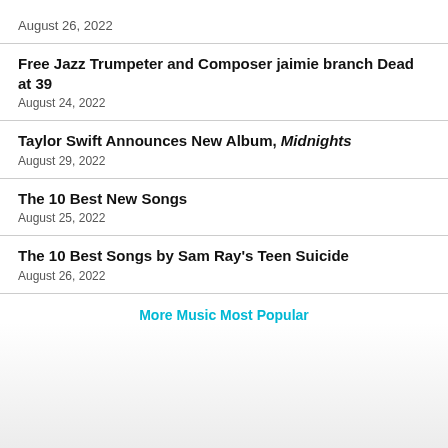August 26, 2022
Free Jazz Trumpeter and Composer jaimie branch Dead at 39
August 24, 2022
Taylor Swift Announces New Album, Midnights
August 29, 2022
The 10 Best New Songs
August 25, 2022
The 10 Best Songs by Sam Ray's Teen Suicide
August 26, 2022
More Music Most Popular